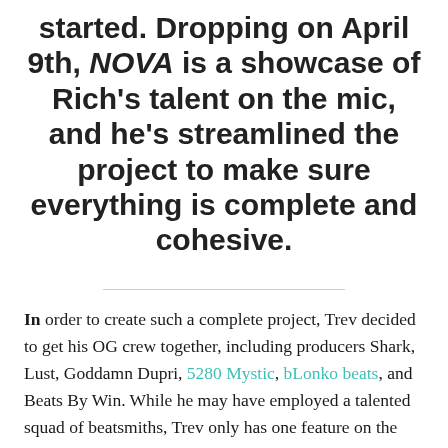started. Dropping on April 9th, NOVA is a showcase of Rich's talent on the mic, and he's streamlined the project to make sure everything is complete and cohesive.
In order to create such a complete project, Trev decided to get his OG crew together, including producers Shark, Lust, Goddamn Dupri, 5280 Mystic, bLonko beats, and Beats By Win. While he may have employed a talented squad of beatsmiths, Trev only has one feature on the album, Denver's own AP. When asked about why he went this route, Trev put it simply; “I like to put together the most complete project possible.” This focus on making a project, rather than a few songs